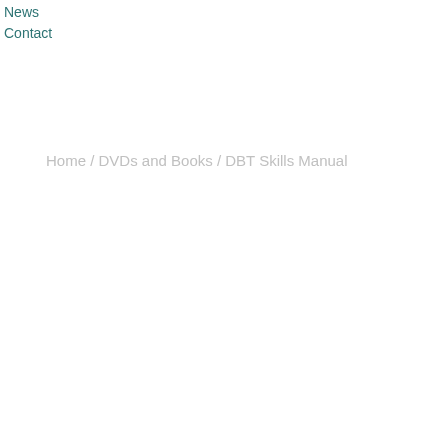News
Contact
Home / DVDs and Books / DBT Skills Manual